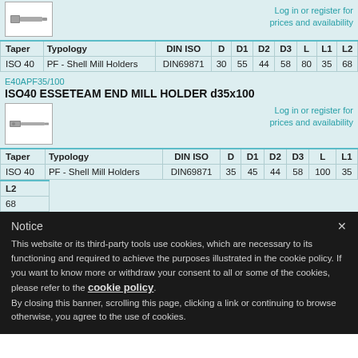[Figure (photo): Tool image for first product (shell mill holder)]
Log in or register for prices and availability
| Taper | Typology | DIN ISO | D | D1 | D2 | D3 | L | L1 | L2 |
| --- | --- | --- | --- | --- | --- | --- | --- | --- | --- |
| ISO 40 | PF - Shell Mill Holders | DIN69871 | 30 | 55 | 44 | 58 | 80 | 35 | 68 |
E40APF35/100
ISO40 ESSETEAM END MILL HOLDER d35x100
[Figure (photo): Tool image for second product (end mill holder)]
Log in or register for prices and availability
| Taper | Typology | DIN ISO | D | D1 | D2 | D3 | L | L1 |
| --- | --- | --- | --- | --- | --- | --- | --- | --- |
| ISO 40 | PF - Shell Mill Holders | DIN69871 | 35 | 45 | 44 | 58 | 100 | 35 |
| L2 |
| --- |
| 68 |
Notice
This website or its third-party tools use cookies, which are necessary to its functioning and required to achieve the purposes illustrated in the cookie policy. If you want to know more or withdraw your consent to all or some of the cookies, please refer to the cookie policy.
By closing this banner, scrolling this page, clicking a link or continuing to browse otherwise, you agree to the use of cookies.